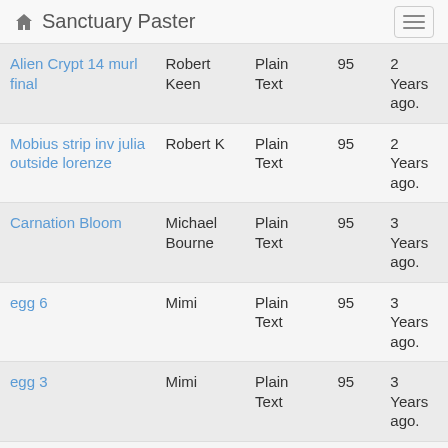Sanctuary Paster
| Name | Author | Type | Views | Date |
| --- | --- | --- | --- | --- |
| Alien Crypt 14 murl final | Robert Keen | Plain Text | 95 | 2 Years ago. |
| Mobius strip inv julia outside lorenze | Robert K | Plain Text | 95 | 2 Years ago. |
| Carnation Bloom | Michael Bourne | Plain Text | 95 | 3 Years ago. |
| egg 6 | Mimi | Plain Text | 95 | 3 Years ago. |
| egg 3 | Mimi | Plain Text | 95 | 3 Years ago. |
| egg params | Michael | Plain Text | 95 | 3 |